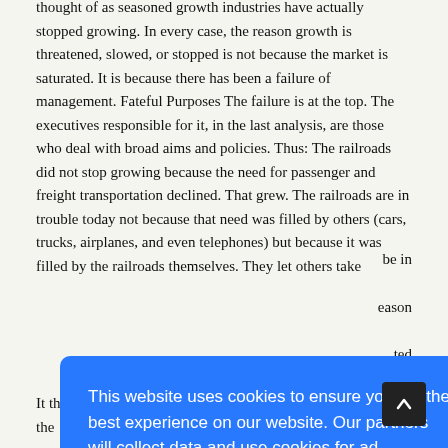thought of as seasoned growth industries have actually stopped growing. In every case, the reason growth is threatened, slowed, or stopped is not because the market is saturated. It is because there has been a failure of management. Fateful Purposes The failure is at the top. The executives responsible for it, in the last analysis, are those who deal with broad aims and policies. Thus: The railroads did not stop growing because the need for passenger and freight transportation declined. That grew. The railroads are in trouble today not because that need was filled by others (cars, trucks, airplanes, and even telephones) but because it was filled by the railroads themselves. They let others take ... [partially obscured] ... be in ... [partially obscured] ... reason ... [partially obscured] ... ted ... [partially obscured] ... lly ... [partially obscured] ... vent ... [partially obscured] ... em ... [partially obscured] ... wn
[Figure (screenshot): Cookie consent overlay dialog with blue background. Text reads: 'This website uses cookies to ensure you get the best experience on our website. Our partners will collect data and use cookies for ad personalization and measurement.' A link reads: 'Learn how we and our partners collect and use data.' An OK button is shown below.]
It thought it was in the movie business when it was actually in the